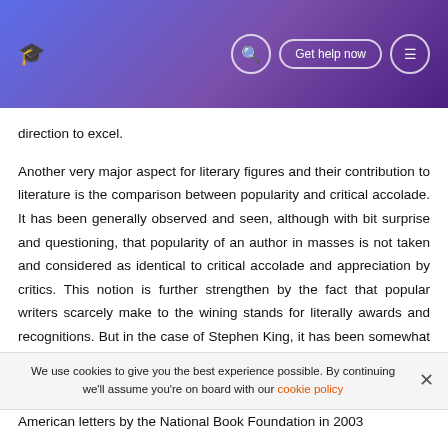Get help now
direction to excel.
Another very major aspect for literary figures and their contribution to literature is the comparison between popularity and critical accolade. It has been generally observed and seen, although with bit surprise and questioning, that popularity of an author in masses is not taken and considered as identical to critical accolade and appreciation by critics. This notion is further strengthen by the fact that popular writers scarcely make to the wining stands for literally awards and recognitions. But in the case of Stephen King, it has been somewhat proved to be as false
American letters by the National Book Foundation in 2003